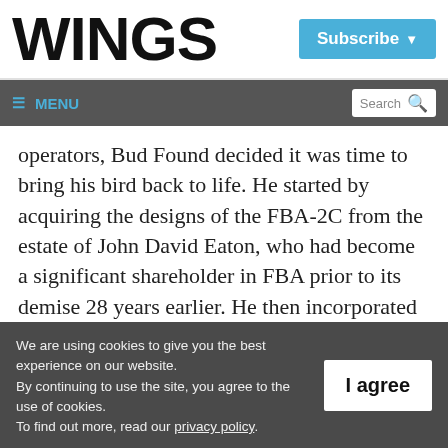WINGS
Subscribe
≡ MENU  Search
operators, Bud Found decided it was time to bring his bird back to life. He started by acquiring the designs of the FBA-2C from the estate of John David Eaton, who had become a significant shareholder in FBA prior to its demise 28 years earlier. He then incorporated
We are using cookies to give you the best experience on our website.
By continuing to use the site, you agree to the use of cookies.
To find out more, read our privacy policy.
I agree